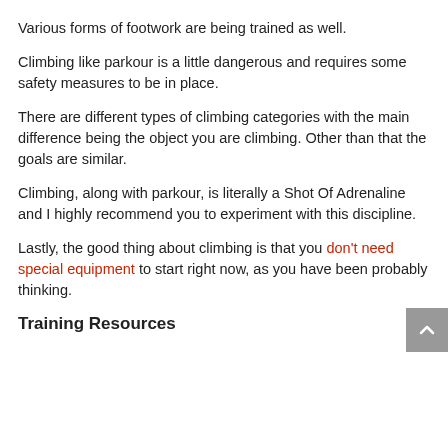Various forms of footwork are being trained as well.
Climbing like parkour is a little dangerous and requires some safety measures to be in place.
There are different types of climbing categories with the main difference being the object you are climbing. Other than that the goals are similar.
Climbing, along with parkour, is literally a Shot Of Adrenaline and I highly recommend you to experiment with this discipline.
Lastly, the good thing about climbing is that you don't need special equipment to start right now, as you have been probably thinking.
Training Resources